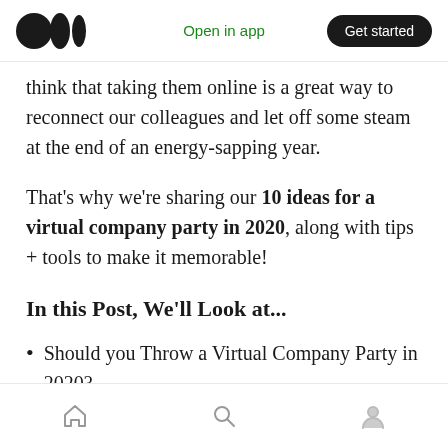Medium logo | Open in app | Get started
think that taking them online is a great way to reconnect our colleagues and let off some steam at the end of an energy-sapping year.
That's why we're sharing our 10 ideas for a virtual company party in 2020, along with tips + tools to make it memorable!
In this Post, We'll Look at...
Should you Throw a Virtual Company Party in 2020?
4 Tips for a Great Virtual Company Party
Home | Search | Profile